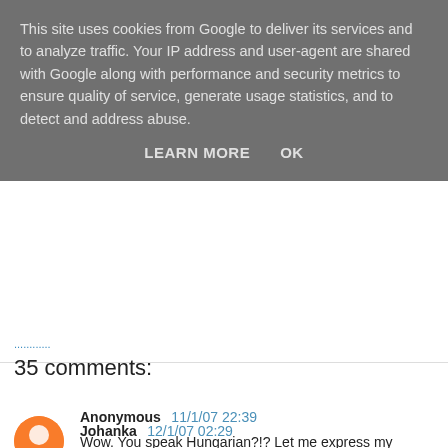This site uses cookies from Google to deliver its services and to analyze traffic. Your IP address and user-agent are shared with Google along with performance and security metrics to ensure quality of service, generate usage statistics, and to detect and address abuse.
LEARN MORE    OK
35 comments:
Anonymous  11/1/07 22:39
Wow. You speak Hungarian?!? Let me express my respect!
ts in Hungarian is a strange sight. I've only encountered it in Burgenland-Croatian surnames, for the sound I end in.
Reply
Johanka  12/1/07 02:29